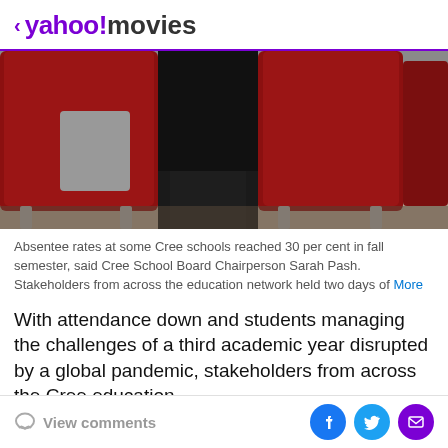< yahoo!movies
[Figure (photo): Photo of red auditorium or classroom chairs viewed from behind, with dark background. Two red chair backs visible prominently.]
Absentee rates at some Cree schools reached 30 per cent in fall semester, said Cree School Board Chairperson Sarah Pash. Stakeholders from across the education network held two days of More
With attendance down and students managing the challenges of a third academic year disrupted by a global pandemic, stakeholders from across the Cree education
View comments